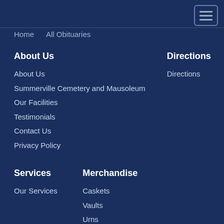Home   All Obituaries
About Us
About Us
Summerville Cemetery and Mausoleum
Our Facilities
Testimonials
Contact Us
Privacy Policy
Directions
Directions
Services
Our Services
Merchandise
Caskets
Vaults
Urns
Pre-Plan
Veterans